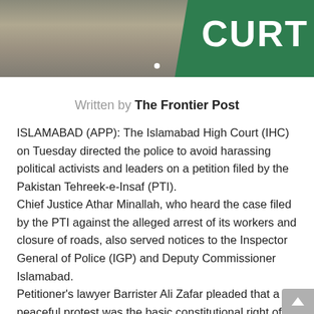[Figure (photo): Photograph at top of article showing a green court sign and background scene]
Written by The Frontier Post
ISLAMABAD (APP): The Islamabad High Court (IHC) on Tuesday directed the police to avoid harassing political activists and leaders on a petition filed by the Pakistan Tehreek-e-Insaf (PTI).
Chief Justice Athar Minallah, who heard the case filed by the PTI against the alleged arrest of its workers and closure of roads, also served notices to the Inspector General of Police (IGP) and Deputy Commissioner Islamabad.
Petitioner's lawyer Barrister Ali Zafar pleaded that a peaceful protest was the basic constitutional right of every citizen, but the PTI leaders were being arrested across the country through a crackdown.
The chief justice said there was a clear judgment of the Supreme Court in a case pertaining to protest and